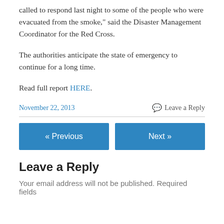called to respond last night to some of the people who were evacuated from the smoke," said the Disaster Management Coordinator for the Red Cross.
The authorities anticipate the state of emergency to continue for a long time.
Read full report HERE.
November 22, 2013    Leave a Reply
« Previous    Next »
Leave a Reply
Your email address will not be published. Required fields